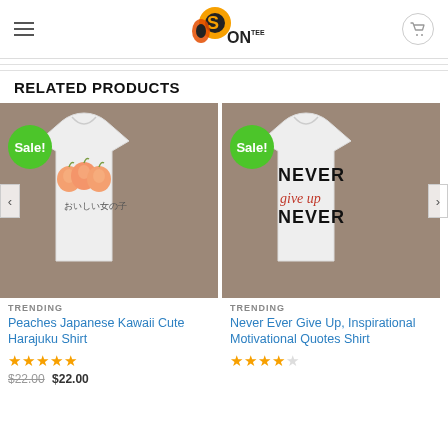SonTee logo with hamburger menu and cart icon
RELATED PRODUCTS
[Figure (photo): T-shirt with peaches Japanese Kawaii design and Japanese text おいしい女の子, with Sale badge, on wooden background]
TRENDING
Peaches Japanese Kawaii Cute Harajuku Shirt
[Figure (photo): T-shirt with 'NEVER give up NEVER' text design in black and red, with Sale badge, on wooden background]
TRENDING
Never Ever Give Up, Inspirational Motivational Quotes Shirt
$22.00  $22.00